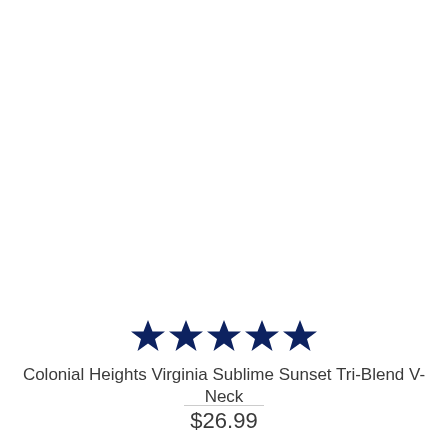[Figure (other): Five filled dark navy blue stars rating icons arranged horizontally]
Colonial Heights Virginia Sublime Sunset Tri-Blend V-Neck
$26.99